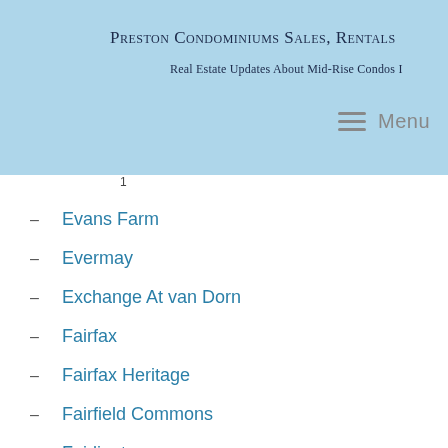Preston Condominiums Sales, Rentals
Real Estate Updates About Mid-Rise Condos I
1
Evans Farm
Evermay
Exchange At van Dorn
Fairfax
Fairfax Heritage
Fairfield Commons
Fairlington